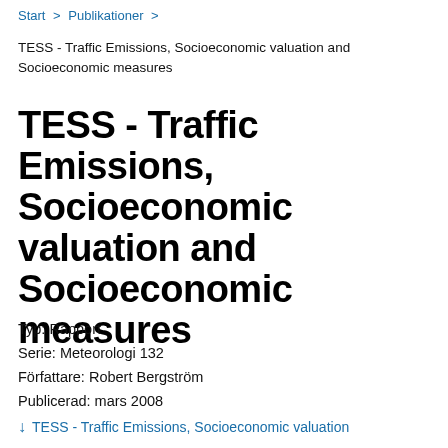Start > Publikationer >
TESS - Traffic Emissions, Socioeconomic valuation and Socioeconomic measures
TESS - Traffic Emissions, Socioeconomic valuation and Socioeconomic measures
Typ: Rapport
Serie: Meteorologi 132
Författare: Robert Bergström
Publicerad: mars 2008
TESS - Traffic Emissions, Socioeconomic valuation